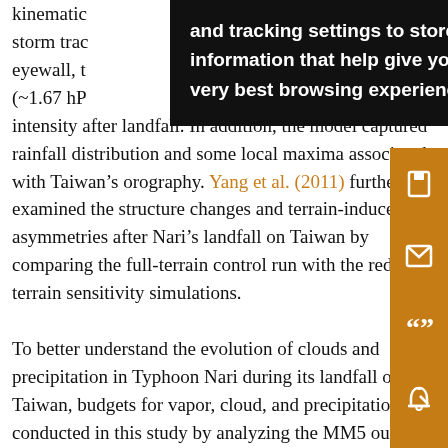kinematic… the storm trac… eyewall, t… (~1.67 hP… tant intensity after landfall. In addition, the model captured rainfall distribution and some local maxima associated with Taiwan's orography. Yang et al. (2011) further examined the structure changes and terrain-induced sto asymmetries after Nari's landfall on Taiwan by comparing the full-terrain control run with the reduced-terrain sensitivity simulations.
To better understand the evolution of clouds and precipitation in Typhoon Nari during its landfall on Taiwan, budgets for vapor, cloud, and precipitation are conducted in this study by analyzing the MM5 output
[Figure (screenshot): Dark tooltip overlay showing cookie/tracking settings text: 'and tracking settings to store information that help give you the very best browsing experience.']
[Figure (infographic): Orange sidebar with icons: save, email, quote, bell/notification, share]